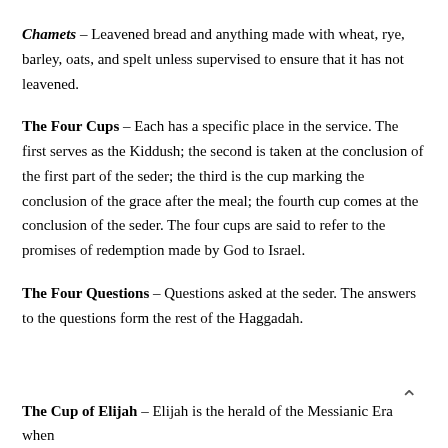Chamets – Leavened bread and anything made with wheat, rye, barley, oats, and spelt unless supervised to ensure that it has not leavened.
The Four Cups – Each has a specific place in the service. The first serves as the Kiddush; the second is taken at the conclusion of the first part of the seder; the third is the cup marking the conclusion of the grace after the meal; the fourth cup comes at the conclusion of the seder. The four cups are said to refer to the promises of redemption made by God to Israel.
The Four Questions – Questions asked at the seder. The answers to the questions form the rest of the Haggadah.
The Cup of Elijah – Elijah is the herald of the Messianic Era when